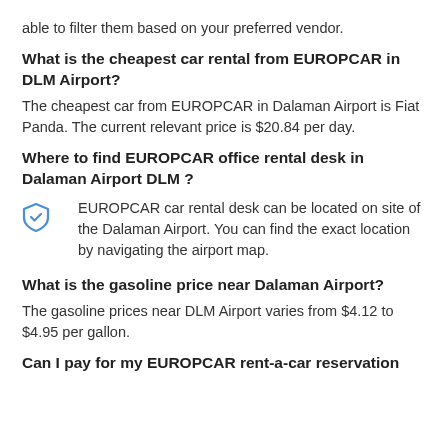able to filter them based on your preferred vendor.
What is the cheapest car rental from EUROPCAR in DLM Airport?
The cheapest car from EUROPCAR in Dalaman Airport is Fiat Panda. The current relevant price is $20.84 per day.
Where to find EUROPCAR office rental desk in Dalaman Airport DLM ?
EUROPCAR car rental desk can be located on site of the Dalaman Airport. You can find the exact location by navigating the airport map.
What is the gasoline price near Dalaman Airport?
The gasoline prices near DLM Airport varies from $4.12 to $4.95 per gallon.
Can I pay for my EUROPCAR rent-a-car reservation